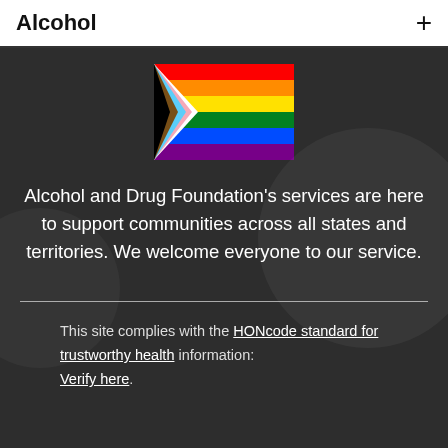Alcohol
[Figure (illustration): Progress Pride flag (rainbow with chevron stripes for trans and POC inclusion)]
Alcohol and Drug Foundation's services are here to support communities across all states and territories. We welcome everyone to our service.
This site complies with the HONcode standard for trustworthy health information: Verify here.